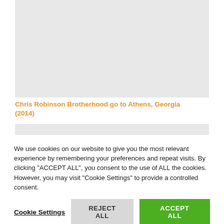[Figure (photo): Gray placeholder image area at the top of the page]
Chris Robinson Brotherhood go to Athens, Georgia (2014)
[Figure (photo): Partial gray placeholder image strip below the title link]
We use cookies on our website to give you the most relevant experience by remembering your preferences and repeat visits. By clicking "ACCEPT ALL", you consent to the use of ALL the cookies. However, you may visit "Cookie Settings" to provide a controlled consent.